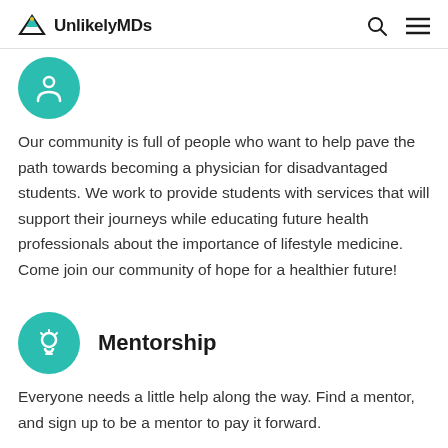UnlikelyMDs
[Figure (illustration): Teal circle icon with a person/community symbol, partially visible at top]
Our community is full of people who want to help pave the path towards becoming a physician for disadvantaged students. We work to provide students with services that will support their journeys while educating future health professionals about the importance of lifestyle medicine. Come join our community of hope for a healthier future!
[Figure (illustration): Teal circle icon with a lightbulb symbol]
Mentorship
Everyone needs a little help along the way. Find a mentor, and sign up to be a mentor to pay it forward.